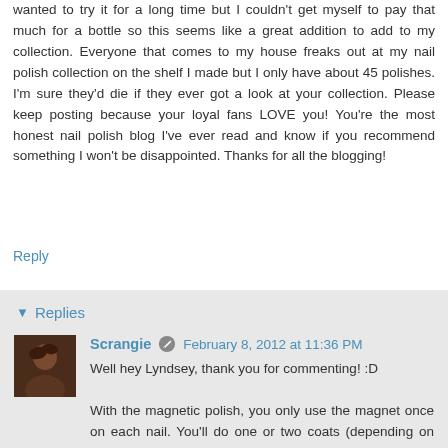wanted to try it for a long time but I couldn't get myself to pay that much for a bottle so this seems like a great addition to add to my collection. Everyone that comes to my house freaks out at my nail polish collection on the shelf I made but I only have about 45 polishes. I'm sure they'd die if they ever got a look at your collection. Please keep posting because your loyal fans LOVE you! You're the most honest nail polish blog I've ever read and know if you recommend something I won't be disappointed. Thanks for all the blogging!
Reply
Replies
Scrangie  February 8, 2012 at 11:36 PM
Well hey Lyndsey, thank you for commenting! :D
With the magnetic polish, you only use the magnet once on each nail. You'll do one or two coats (depending on how opaque it is) on each nail just like you'd paint your nails normally, but then when you do your last coat, you do each